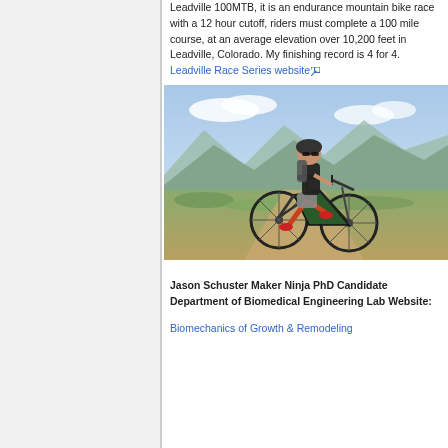Leadville 100MTB, it is an endurance mountain bike race with a 12 hour cutoff, riders must complete a 100 mile course, at an average elevation over 10,200 feet in Leadville, Colorado. My finishing record is 4 for 4. Leadville Race Series website [external link]
[Figure (photo): Mountain biker riding on a dirt trail with mountain landscape in the background, wearing a black jersey, helmet and sunglasses.]
Jason Schuster Maker Ninja PhD Candidate Department of Biomedical Engineering Lab Website: Biomechanics of Growth & Remodeling